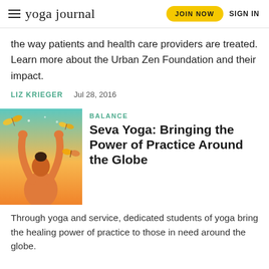yoga journal | JOIN NOW | SIGN IN
the way patients and health care providers are treated. Learn more about the Urban Zen Foundation and their impact.
LIZ KRIEGER   Jul 28, 2016
BALANCE
Seva Yoga: Bringing the Power of Practice Around the Globe
Through yoga and service, dedicated students of yoga bring the healing power of practice to those in need around the globe.
[Figure (illustration): Illustration of a person with arms raised overhead, surrounded by butterflies, with a warm gradient background of teal/blue to orange/yellow.]